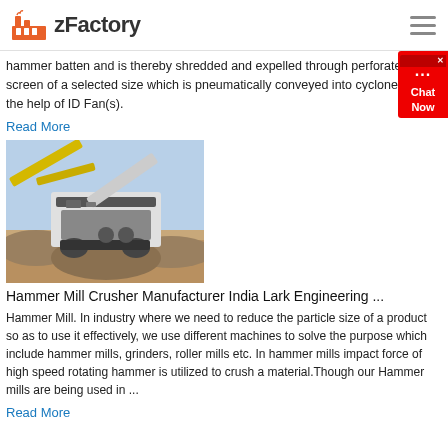zFactory
hammer batten and is thereby shredded and expelled through perforated screen of a selected size which is pneumatically conveyed into cyclone with the help of ID Fan(s).
Read More
[Figure (photo): Photo of a large yellow and white hammer mill crusher machine on a rocky outdoor site with an excavator in the background.]
Hammer Mill Crusher Manufacturer India Lark Engineering ...
Hammer Mill. In industry where we need to reduce the particle size of a product so as to use it effectively, we use different machines to solve the purpose which include hammer mills, grinders, roller mills etc. In hammer mills impact force of high speed rotating hammer is utilized to crush a material.Though our Hammer mills are being used in ...
Read More